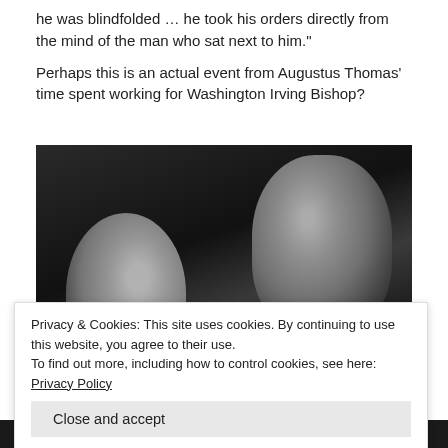he was blindfolded … he took his orders directly from the mind of the man who sat next to him."

Perhaps this is an actual event from Augustus Thomas' time spent working for Washington Irving Bishop?
[Figure (photo): Black and white film still showing a woman (lower left) and a man (upper right) in close proximity, appearing to be in an intimate or dramatic scene.]
Privacy & Cookies: This site uses cookies. By continuing to use this website, you agree to their use.
To find out more, including how to control cookies, see here: Privacy Policy
Judith Allen and Tom Brown